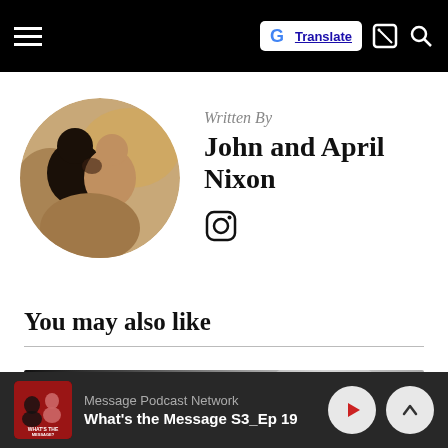Navigation bar with hamburger menu, Google Translate button, and icons
Written By
John and April Nixon
[Figure (photo): Circular profile photo of a couple, a man and woman, appearing to kiss or touch foreheads outdoors with warm bokeh background]
[Figure (logo): Instagram icon (camera outline)]
You may also like
[Figure (photo): Partial preview of an article thumbnail image in grayscale/dark tones]
Message Podcast Network — What's the Message S3_Ep 19